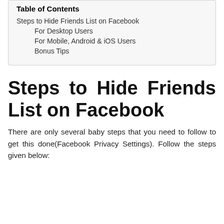Table of Contents
Steps to Hide Friends List on Facebook
For Desktop Users
For Mobile, Android & iOS Users
Bonus Tips
Steps to Hide Friends List on Facebook
There are only several baby steps that you need to follow to get this done(Facebook Privacy Settings). Follow the steps given below: